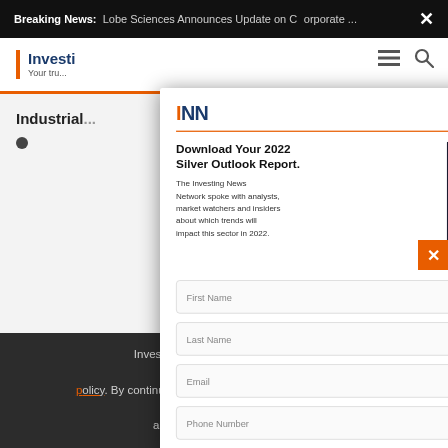Breaking News: Lobe Sciences Announces Update on Corporate...
[Figure (screenshot): INN (Investing News Network) website header with logo and navigation icons]
Industrial...
[Figure (infographic): Modal popup for downloading the 2022 Silver Outlook Report from INN. Contains INN logo, headline 'Download Your 2022 Silver Outlook Report.', descriptive text about analysts, market watchers and insiders, book cover image showing 'SILVER OUTLOOK 2022' with a red badge saying 'Updated Jul 22, 2022', and form fields for First Name, Last Name, Email, and Phone Number.]
Investing News Network uses third-party cookies. See our cookie policy. By continuing to browse or by clicking ACCEPT OR continuing, you agree to our use of cookies.